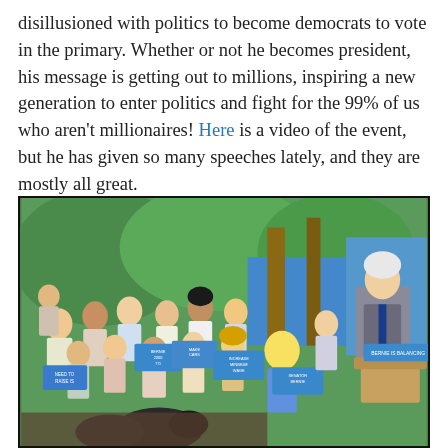disillusioned with politics to become democrats to vote in the primary. Whether or not he becomes president, his message is getting out to millions, inspiring a new generation to enter politics and fight for the 99% of us who aren't millionaires! Here is a video of the event, but he has given so many speeches lately, and they are mostly all great.
[Figure (illustration): A colorful hand-drawn crayon/colored-pencil illustration depicting a political rally scene. On the right stands a white-haired man in a suit at a podium. On the left is a crowd of diverse people holding campaign signs with blue text. Trees and green foliage form the background. A dark bird/duck is visible in the foreground.]